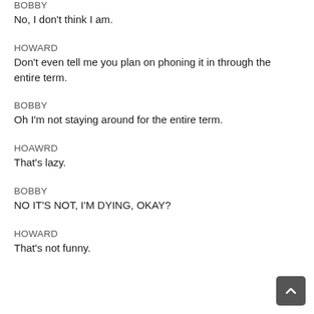BOBBY
No, I don't think I am.
HOWARD
Don't even tell me you plan on phoning it in through the entire term.
BOBBY
Oh I'm not staying around for the entire term.
HOAWRD
That's lazy.
BOBBY
NO IT'S NOT, I'M DYING, OKAY?
HOWARD
That's not funny.